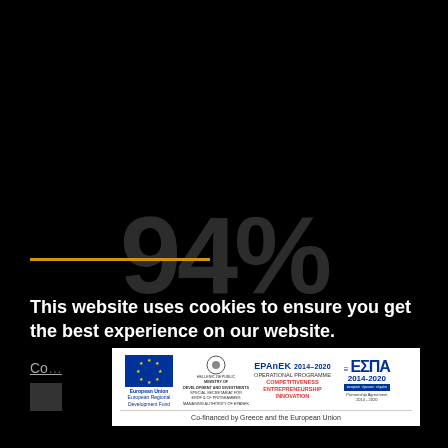[Figure (infographic): Large grey '94%' text displayed on black background with a gold/orange horizontal line accent]
This website uses cookies to ensure you get the best experience on our website.
Co...
[Figure (logo): EU co-financing banner: European Union ERDF logo, Hellenic Republic Ministry of Development and Investments logo, EPAnEK 2014-2020 Operational Programme Competitiveness Entrepreneurship Innovation logo, ESPA 2014-2020 Partnership Agreement logo. Bottom text: Co-financed by Greece and the European Union]